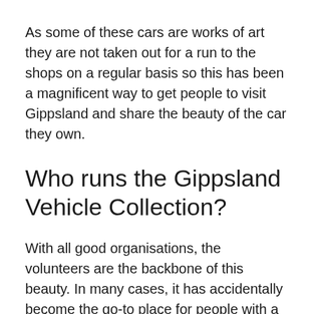As some of these cars are works of art they are not taken out for a run to the shops on a regular basis so this has been a magnificent way to get people to visit Gippsland and share the beauty of the car they own.
Who runs the Gippsland Vehicle Collection?
With all good organisations, the volunteers are the backbone of this beauty. In many cases, it has accidentally become the go-to place for people with a common interest for support through hard times.